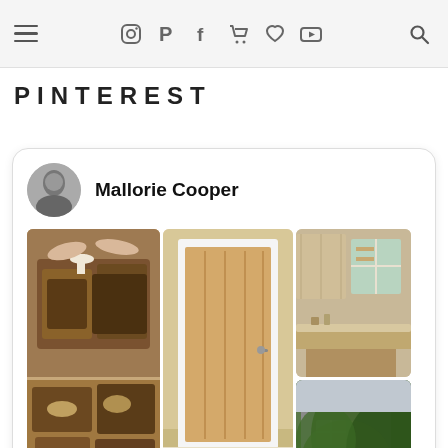Navigation bar with hamburger menu, social icons (Instagram, Pinterest, Facebook, cart, heart, YouTube), and search icon
PINTEREST
[Figure (screenshot): Pinterest widget card showing Mallorie Cooper profile with avatar photo, a 3-column image grid of food, interior door, kitchen, house exterior, and cake slice photos, and a 'Follow On Pinterest' button at the bottom.]